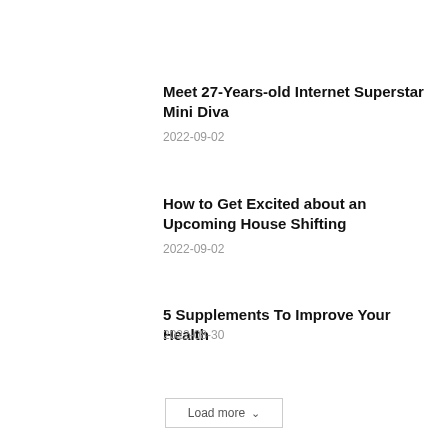Meet 27-Years-old Internet Superstar Mini Diva
2022-09-02
How to Get Excited about an Upcoming House Shifting
2022-09-02
5 Supplements To Improve Your Health
2022-08-30
Load more